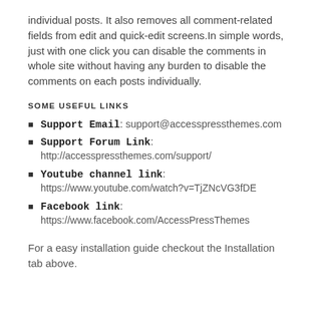individual posts. It also removes all comment-related fields from edit and quick-edit screens.In simple words, just with one click you can disable the comments in whole site without having any burden to disable the comments on each posts individually.
SOME USEFUL LINKS
Support Email: support@accesspressthemes.com
Support Forum Link: http://accesspressthemes.com/support/
Youtube channel link: https://www.youtube.com/watch?v=TjZNcVG3fDE
Facebook link: https://www.facebook.com/AccessPressThemes
For a easy installation guide checkout the Installation tab above.